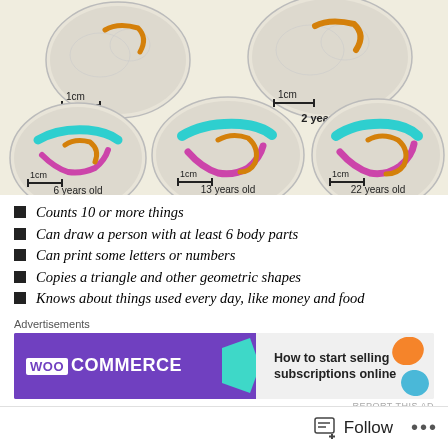[Figure (illustration): Six brain MRI illustrations showing brain development at different ages: neonate, 2 years old, 6 years old, 13 years old, and 22 years old. Each brain shows colored fiber tracts (teal, orange, magenta) overlaid on gray brain surface. Scale bars of 1cm shown on each.]
Counts 10 or more things
Can draw a person with at least 6 body parts
Can print some letters or numbers
Copies a triangle and other geometric shapes
Knows about things used every day, like money and food
[Figure (screenshot): WooCommerce advertisement banner: purple left side with WooCommerce logo and teal arrow shape, light gray right side with text 'How to start selling subscriptions online' and orange/blue decorative shapes.]
Follow ...